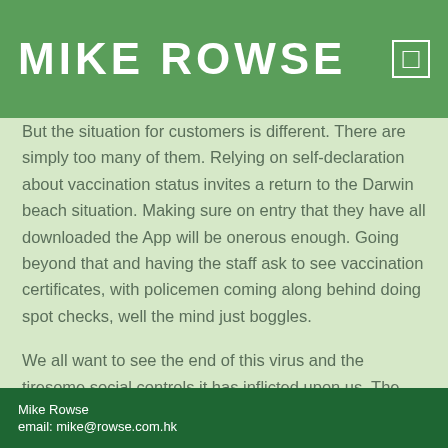MIKE ROWSE
But the situation for customers is different. There are simply too many of them. Relying on self-declaration about vaccination status invites a return to the Darwin beach situation. Making sure on entry that they have all downloaded the App will be onerous enough. Going beyond that and having the staff ask to see vaccination certificates, with policemen coming along behind doing spot checks, well the mind just boggles.
We all want to see the end of this virus and the tiresome social controls it has inflicted upon us. The quickest way to achieve that is to secure herd immunity. If that means the individual must sacrifice to secure the well-being of the whole
Mike Rowse
email: mike@rowse.com.hk